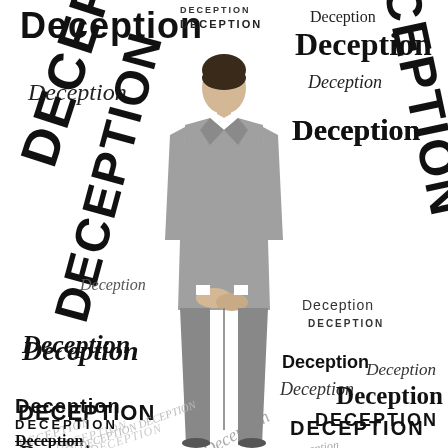[Figure (illustration): A man in a grey suit viewed from behind, standing amid a collage of the word 'Deception' written in many different fonts, sizes, and styles scattered all around him on a white background.]